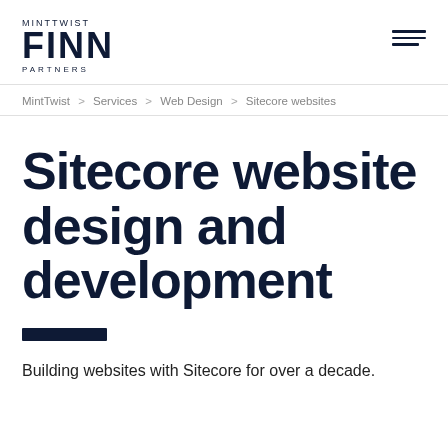MINTTWIST FINN PARTNERS
MintTwist > Services > Web Design > Sitecore websites
Sitecore website design and development
Building websites with Sitecore for over a decade.